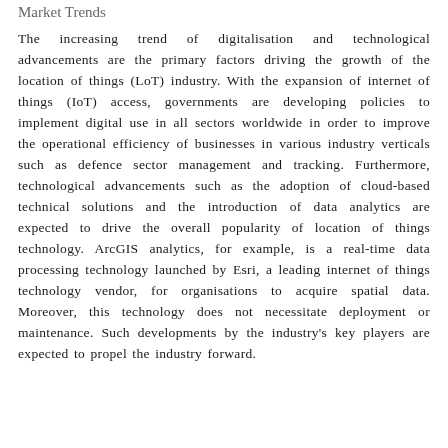Market Trends
The increasing trend of digitalisation and technological advancements are the primary factors driving the growth of the location of things (LoT) industry. With the expansion of internet of things (IoT) access, governments are developing policies to implement digital use in all sectors worldwide in order to improve the operational efficiency of businesses in various industry verticals such as defence sector management and tracking. Furthermore, technological advancements such as the adoption of cloud-based technical solutions and the introduction of data analytics are expected to drive the overall popularity of location of things technology. ArcGIS analytics, for example, is a real-time data processing technology launched by Esri, a leading internet of things technology vendor, for organisations to acquire spatial data. Moreover, this technology does not necessitate deployment or maintenance. Such developments by the industry's key players are expected to propel the industry forward.